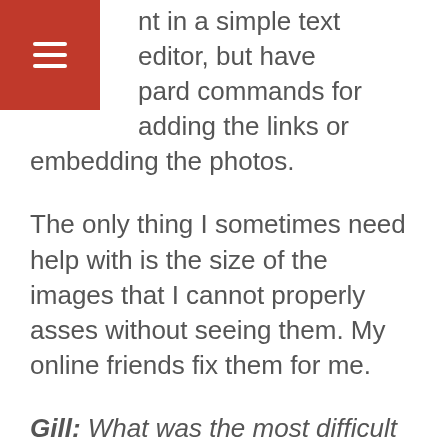[Figure (other): Red hamburger menu button in top-left corner with three white horizontal lines]
c…nt in a simple text editor, but have k…pard commands for adding the links or embedding the photos.
The only thing I sometimes need help with is the size of the images that I cannot properly asses without seeing them. My online friends fix them for me.
Gill: What was the most difficult thing for you to deal with so far after you've started blogging?
Max: You probably expect me to tell you